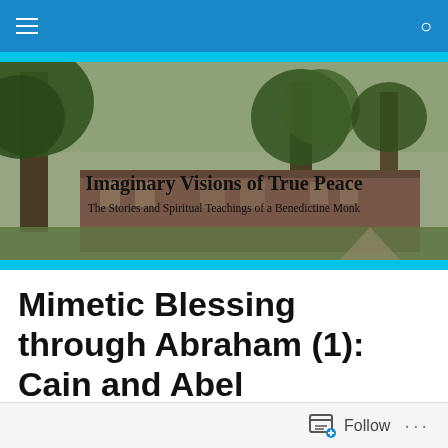Navigation bar with hamburger menu and search icon
[Figure (photo): Outdoor photo showing large trees and a brick building in the background, serving as banner image for 'Imaginary Visions of True Peace' blog]
Imaginary Visions of True Peace
The Stories and Spiritual Teachings of a Benedictine Monk
Mimetic Blessing through Abraham (1): Cain and Abel
Follow ...